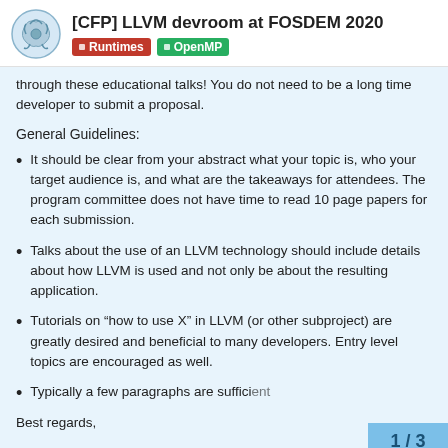[CFP] LLVM devroom at FOSDEM 2020 | Runtimes | OpenMP
through these educational talks! You do not need to be a long time developer to submit a proposal.
General Guidelines:
It should be clear from your abstract what your topic is, who your target audience is, and what are the takeaways for attendees. The program committee does not have time to read 10 page papers for each submission.
Talks about the use of an LLVM technology should include details about how LLVM is used and not only be about the resulting application.
Tutorials on “how to use X” in LLVM (or other subproject) are greatly desired and beneficial to many developers. Entry level topics are encouraged as well.
Typically a few paragraphs are sufficient
Best regards,
1 / 3